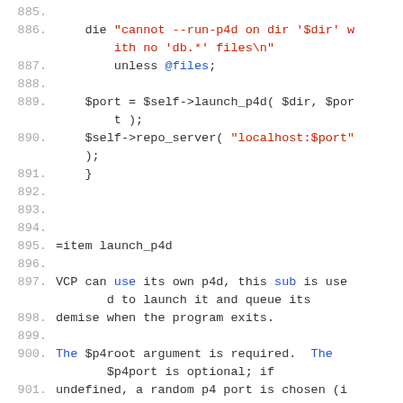885. (blank)
886.     die "cannot --run-p4d on dir '$dir' with no 'db.*' files\n"
887.         unless @files;
888. (blank)
889.     $port = $self->launch_p4d( $dir, $port );
890.     $self->repo_server( "localhost:$port" );
891.     }
892. (blank)
893. (blank)
894. (blank)
895. =item launch_p4d
896. (blank)
897. VCP can use its own p4d, this sub is used to launch it and queue its
898. demise when the program exits.
899. (blank)
900. The $p4root argument is required.  The $p4port is optional; if
901. undefined, a random p4 port is chosen (if the random port is already in
902. use, successive random ports will be chosen up to 10 times until an